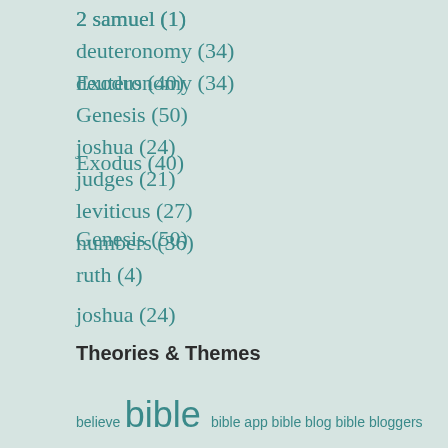2 samuel (1)
deuteronomy (34)
Exodus (40)
Genesis (50)
joshua (24)
judges (21)
leviticus (27)
numbers (36)
ruth (4)
Theories & Themes
believe bible bible app bible blog bible bloggers bible blogging biblegateway bible gateway bible study ceremonial